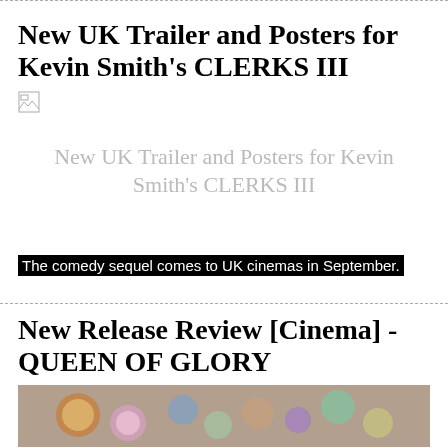New UK Trailer and Posters for Kevin Smith's CLERKS III
[Figure (photo): Broken image placeholder showing alt text: New UK Trailer and Posters for Kevin Smith's CLERKS III]
The comedy sequel comes to UK cinemas in September.
New Release Review [Cinema] - QUEEN OF GLORY
[Figure (photo): Bottom cropped photo, colorful image partially visible]